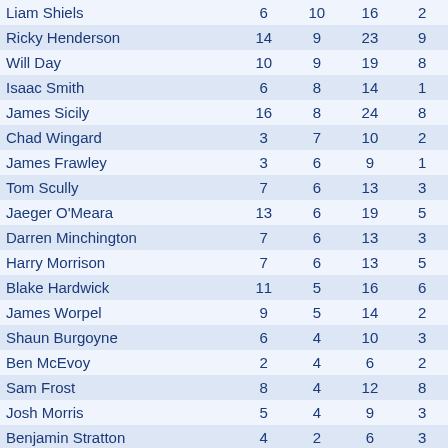| Player | Col1 | Col2 | Col3 | Col4 |
| --- | --- | --- | --- | --- |
| Liam Shiels | 6 | 10 | 16 | 2 |
| Ricky Henderson | 14 | 9 | 23 | 9 |
| Will Day | 10 | 9 | 19 | 8 |
| Isaac Smith | 6 | 8 | 14 | 1 |
| James Sicily | 16 | 8 | 24 | 8 |
| Chad Wingard | 3 | 7 | 10 | 2 |
| James Frawley | 3 | 6 | 9 | 1 |
| Tom Scully | 7 | 6 | 13 | 3 |
| Jaeger O'Meara | 13 | 6 | 19 | 5 |
| Darren Minchington | 7 | 6 | 13 | 3 |
| Harry Morrison | 7 | 6 | 13 | 5 |
| Blake Hardwick | 11 | 5 | 16 | 6 |
| James Worpel | 9 | 5 | 14 | 2 |
| Shaun Burgoyne | 6 | 4 | 10 | 3 |
| Ben McEvoy | 2 | 4 | 6 | 2 |
| Sam Frost | 8 | 4 | 12 | 8 |
| Josh Morris | 5 | 4 | 9 | 3 |
| Benjamin Stratton | 4 | 2 | 6 | 3 |
| Mitchell Lewis | 6 | 2 | 8 | 2 |
| Jack Gunston | 7 | 0 | 7 | 5 |
| Tim O'Brian | 1 | 0 | 1 | 1 |